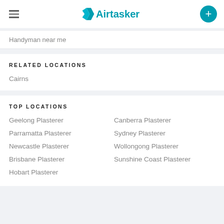Airtasker
Handyman near me
RELATED LOCATIONS
Cairns
TOP LOCATIONS
Geelong Plasterer
Canberra Plasterer
Parramatta Plasterer
Sydney Plasterer
Newcastle Plasterer
Wollongong Plasterer
Brisbane Plasterer
Sunshine Coast Plasterer
Hobart Plasterer